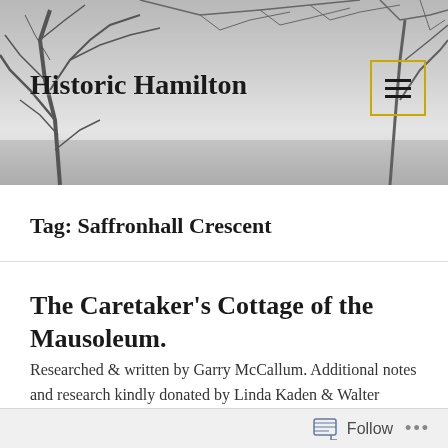Historic Hamilton
Tag: Saffronhall Crescent
The Caretaker's Cottage of the Mausoleum.
Researched & written by Garry McCallum. Additional notes and research kindly donated by Linda Kaden & Walter Smith.
Follow